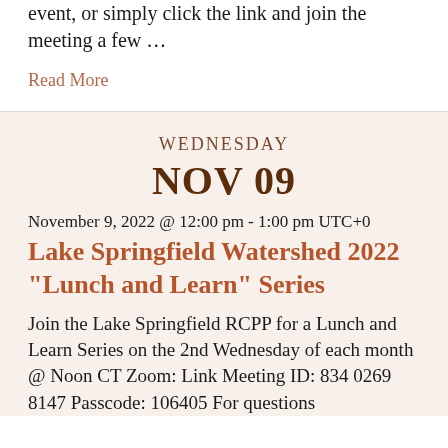event, or simply click the link and join the meeting a few …
Read More
WEDNESDAY
NOV 09
November 9, 2022 @ 12:00 pm - 1:00 pm UTC+0
Lake Springfield Watershed 2022 "Lunch and Learn" Series
Join the Lake Springfield RCPP for a Lunch and Learn Series on the 2nd Wednesday of each month @ Noon CT Zoom: Link Meeting ID: 834 0269 8147 Passcode: 106405 For questions